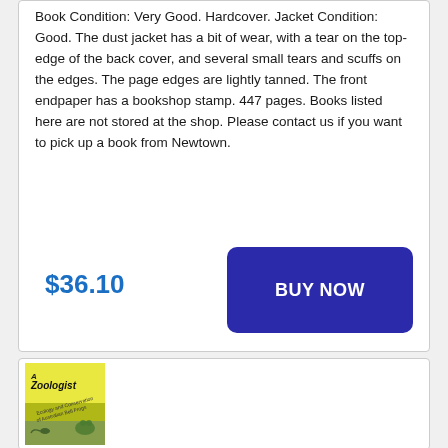Book Condition: Very Good. Hardcover. Jacket Condition: Good. The dust jacket has a bit of wear, with a tear on the top-edge of the back cover, and several small tears and scuffs on the edges. The page edges are lightly tanned. The front endpaper has a bookshop stamp. 447 pages. Books listed here are not stored at the shop. Please contact us if you want to pick up a book from Newtown.
$36.10
[Figure (other): BUY NOW button - dark blue rounded rectangle button with white bold text]
[Figure (photo): Book cover of 'Zoologist' - yellow/green cover showing frogs and tadpoles, subtitle appears to be about Ecology and Conservation of Australian Bell Frogs]